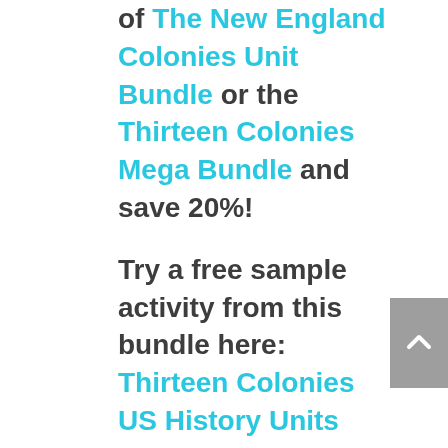of The New England Colonies Unit Bundle or the Thirteen Colonies Mega Bundle and save 20%!
Try a free sample activity from this bundle here: Thirteen Colonies US History Units Breadbasket Activity Sample
Find even more savings when you buy this product as part of the United States History to 1900 Full